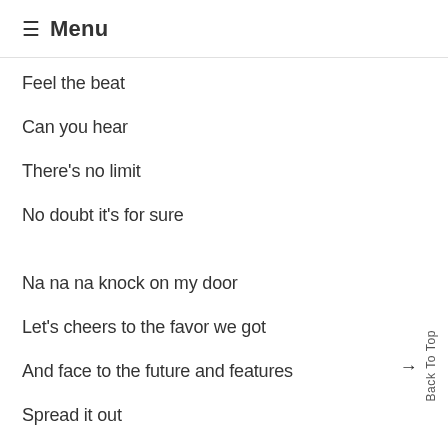≡ Menu
Feel the beat
Can you hear
There's no limit
No doubt it's for sure
Na na na knock on my door
Let's cheers to the favor we got
And face to the future and features
Spread it out
You ready
Standing across the door
Don't know what is behind
But if I could meet you
I'd go in